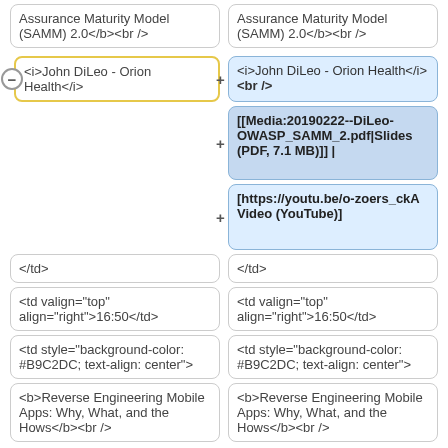Assurance Maturity Model (SAMM) 2.0</b><br />
Assurance Maturity Model (SAMM) 2.0</b><br />
<i>John DiLeo - Orion Health</i>
<i>John DiLeo - Orion Health</i><br />
[[Media:20190222--DiLeo-OWASP_SAMM_2.pdf|Slides (PDF, 7.1 MB)]] |
[https://youtu.be/o-zoers_ckA Video (YouTube)]
</td>
</td>
<td valign="top" align="right">16:50</td>
<td valign="top" align="right">16:50</td>
<td style="background-color: #B9C2DC; text-align: center">
<td style="background-color: #B9C2DC; text-align: center">
<b>Reverse Engineering Mobile Apps: Why, What, and the Hows</b><br />
<b>Reverse Engineering Mobile Apps: Why, What, and the Hows</b><br />